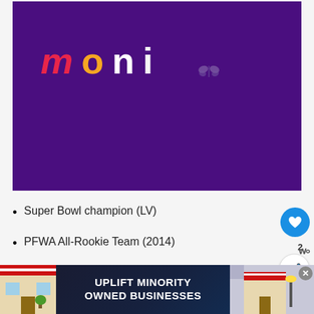[Figure (illustration): Purple background image with colorful text 'moni' — 'm' in red/pink, 'o' in orange/yellow, 'n' in white, 'i' in white — followed by a small butterfly icon. This appears to be a logo or brand image.]
Super Bowl champion (LV)
PFWA All-Rookie Team (2014)
[Figure (illustration): Advertisement banner: UPLIFT MINORITY OWNED BUSINESSES with store front graphics on left and right.]